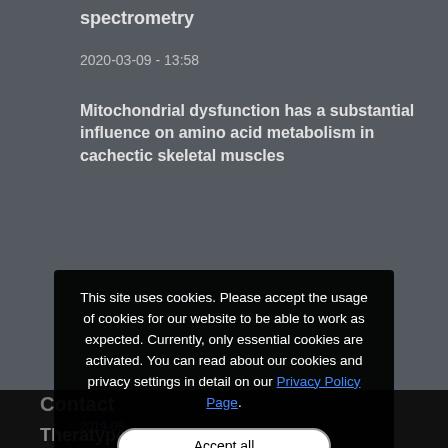spectrometry
2020-03-09 - 13:58
Mitochondrial dysfunction has a substantial influence on amino acid metabolism in cachectic skeletal muscles
2020-01-31 - 15:46
A new method combining MALDI ... microscopy for improv...
2019-05-...
This site uses cookies. Please accept the usage of cookies for our website to be able to work as expected. Currently, only essential cookies are activated. You can read about our cookies and privacy settings in detail on our Privacy Policy Page.
Accept all
Accept essential cookies
Do not accept cookies*
More information
Contact
Theratype